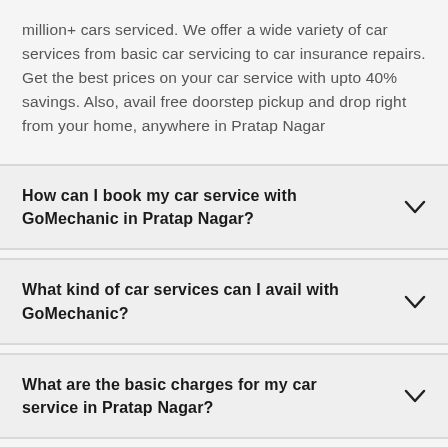million+ cars serviced. We offer a wide variety of car services from basic car servicing to car insurance repairs. Get the best prices on your car service with upto 40% savings. Also, avail free doorstep pickup and drop right from your home, anywhere in Pratap Nagar
How can I book my car service with GoMechanic in Pratap Nagar?
What kind of car services can I avail with GoMechanic?
What are the basic charges for my car service in Pratap Nagar?
Do I have to drop my car to the workshop?